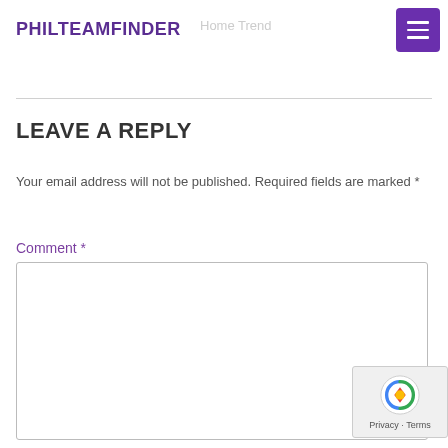PHILTEAMFINDER
Home Trend
LEAVE A REPLY
Your email address will not be published. Required fields are marked *
Comment *